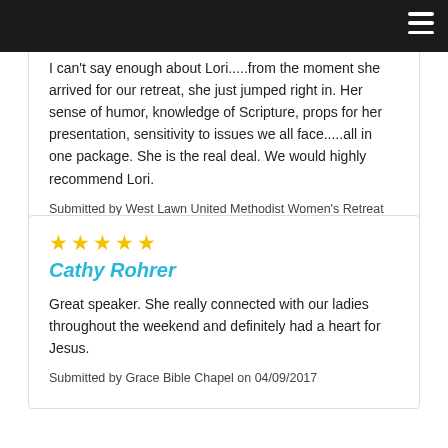≡
I can't say enough about Lori.....from the moment she arrived for our retreat, she just jumped right in. Her sense of humor, knowledge of Scripture, props for her presentation, sensitivity to issues we all face.....all in one package. She is the real deal. We would highly recommend Lori.
Submitted by West Lawn United Methodist Women's Retreat on 12/06/2017
★★★★★
Cathy Rohrer
Great speaker. She really connected with our ladies throughout the weekend and definitely had a heart for Jesus.
Submitted by Grace Bible Chapel on 04/09/2017